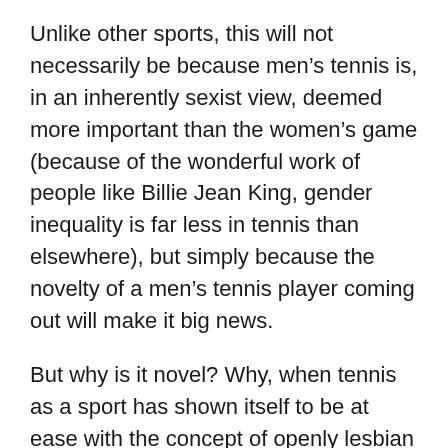Unlike other sports, this will not necessarily be because men's tennis is, in an inherently sexist view, deemed more important than the women's game (because of the wonderful work of people like Billie Jean King, gender inequality is far less in tennis than elsewhere), but simply because the novelty of a men's tennis player coming out will make it big news.
But why is it novel? Why, when tennis as a sport has shown itself to be at ease with the concept of openly lesbian or bisexual female players, has no male player felt sufficiently at ease to come forward and identify himself? Is there such a fundamental difference between the men's and women's tours?
Now, I will preface the rest of this article by saying that I am not an ‘insider’ on the men's tour, and don't know of